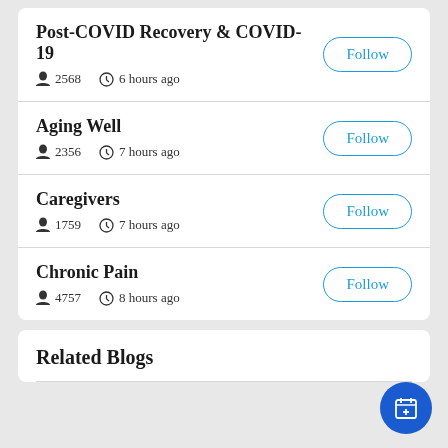Post-COVID Recovery & COVID-19
2568  6 hours ago
Aging Well
2356  7 hours ago
Caregivers
1759  7 hours ago
Chronic Pain
4757  8 hours ago
Related Blogs